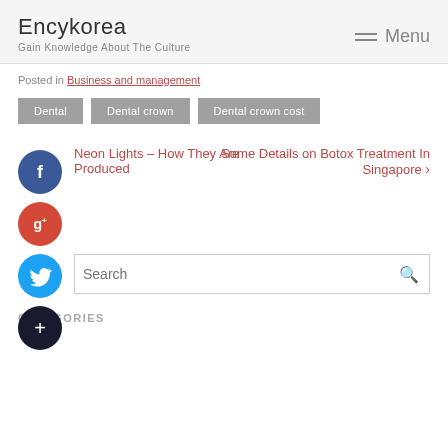Encykorea
Gain Knowledge About The Culture
Posted in Business and management
Dental
Dental crown
Dental crown cost
Neon Lights – How They Are Produced
Some Details on Botox Treatment In Singapore >
Search
CATEGORIES